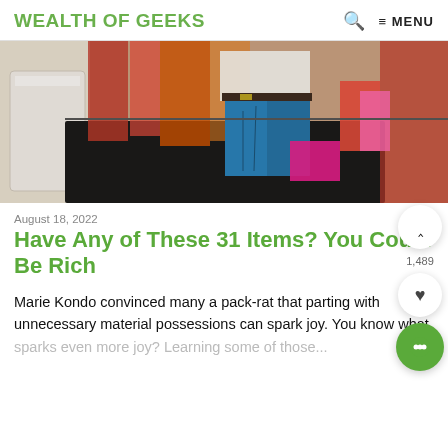WEALTH OF GEEKS  🔍  ≡ MENU
[Figure (photo): A close-up photo of clothing items hanging on racks, including jeans and other garments, with a storage bin visible on the left.]
August 18, 2022
Have Any of These 31 Items? You Could Be Rich
Marie Kondo convinced many a pack-rat that parting with unnecessary material possessions can spark joy. You know what sparks even more joy? Learning some of those...